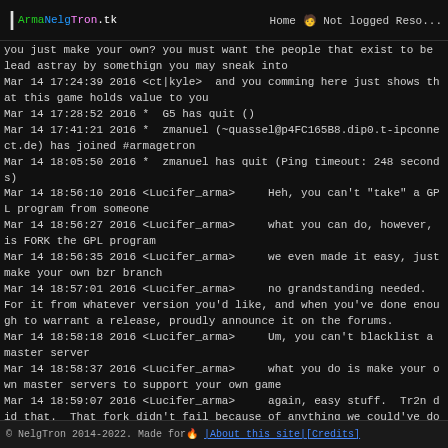| ArmaNelgTron.tk  Home  Not logged  Resources
you just make your own? you must want the people that exist to be lead astray by somethign you may sneak into
Mar 14 17:24:39 2016 <ct|kyle>  and you comming here just shows that this game holds value to you
Mar 14 17:28:52 2016 *  G5 has quit ()
Mar 14 17:41:21 2016 *  zmanuel (~quassel@p4FC165B8.dip0.t-ipconnect.de) has joined #armagetron
Mar 14 18:05:50 2016 *  zmanuel has quit (Ping timeout: 248 seconds)
Mar 14 18:56:10 2016 <Lucifer_arma>     Heh, you can't "take" a GPL program from someone
Mar 14 18:56:27 2016 <Lucifer_arma>     what you can do, however, is FORK the GPL program
Mar 14 18:56:35 2016 <Lucifer_arma>     we even made it easy, just make your own bzr branch
Mar 14 18:57:01 2016 <Lucifer_arma>     no grandstanding needed.  For it from whatever version you'd like, and when you've done enough to warrant a release, proudly announce it on the forums.
Mar 14 18:58:18 2016 <Lucifer_arma>     Um, you can't blacklist a master server
Mar 14 18:58:37 2016 <Lucifer_arma>     what you do is make your own master servers to support your own game
Mar 14 18:59:07 2016 <Lucifer_arma>     again, easy stuff.  Tr2n did that.  That fork didn't fail because of anything we could've done (but didn't), but because
© NelgTron 2014-2022. Made for  | About this site | Credits